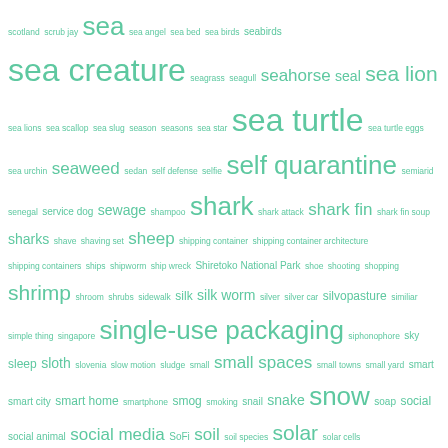[Figure (other): Word cloud with terms related to environment, nature, technology, and social topics, rendered in teal/green color on white background. Words vary in size based on frequency.]